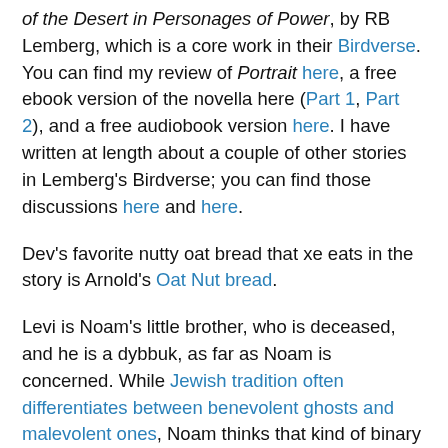of the Desert in Personages of Power, by RB Lemberg, which is a core work in their Birdverse. You can find my review of Portrait here, a free ebook version of the novella here (Part 1, Part 2), and a free audiobook version here. I have written at length about a couple of other stories in Lemberg's Birdverse; you can find those discussions here and here.
Dev's favorite nutty oat bread that xe eats in the story is Arnold's Oat Nut bread.
Levi is Noam's little brother, who is deceased, and he is a dybbuk, as far as Noam is concerned. While Jewish tradition often differentiates between benevolent ghosts and malevolent ones, Noam thinks that kind of binary framework is misguided, and openly talks about how they refuse to think of it that way. The term dybbuk is rooted in